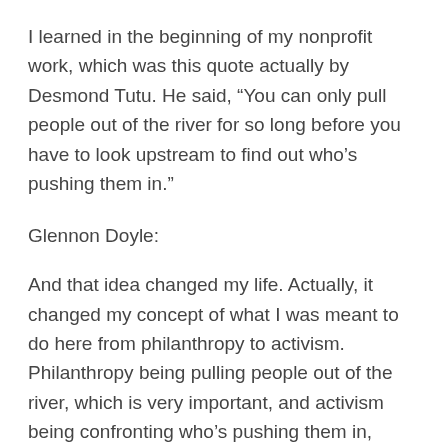I learned in the beginning of my nonprofit work, which was this quote actually by Desmond Tutu. He said, “You can only pull people out of the river for so long before you have to look upstream to find out who’s pushing them in.”
Glennon Doyle:
And that idea changed my life. Actually, it changed my concept of what I was meant to do here from philanthropy to activism. Philanthropy being pulling people out of the river, which is very important, and activism being confronting who’s pushing them in, because I learned that where there is great suffering, there is always great profit upstream. So today we are going to go upstream. We’re going to find out who is profiting from America’s suffering, and we’re going to figure out what we can do and say